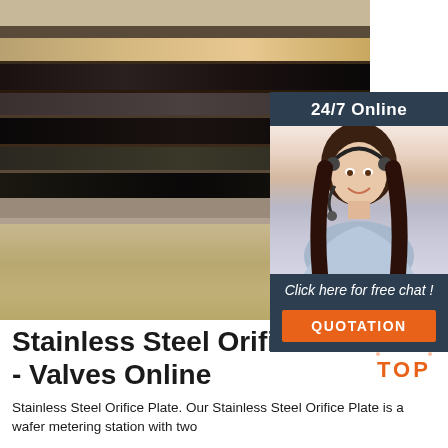[Figure (photo): Stainless steel plates stacked horizontally with gravel/debris at the bottom, showing dark metallic surface texture]
[Figure (photo): Customer service representative (woman with headset) with 24/7 Online chat widget overlay, dark navy background, orange QUOTATION button]
Stainless Steel Orifice Plate - Valves Online
[Figure (logo): TOP logo with orange dots arranged in arc above the word TOP in orange text]
Stainless Steel Orifice Plate. Our Stainless Steel Orifice Plate is a wafer metering station with two